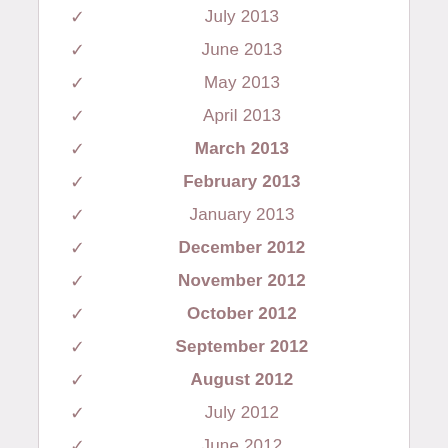✓ July 2013
✓ June 2013
✓ May 2013
✓ April 2013
✓ March 2013
✓ February 2013
✓ January 2013
✓ December 2012
✓ November 2012
✓ October 2012
✓ September 2012
✓ August 2012
✓ July 2012
✓ June 2012